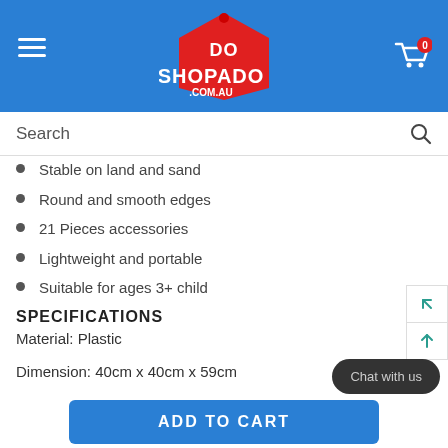[Figure (logo): ShopaDo .com.au logo with shopping tag, blue header bar with hamburger menu and cart icon showing 0 items]
Search
Stable on land and sand
Round and smooth edges
21 Pieces accessories
Lightweight and portable
Suitable for ages 3+ child
SPECIFICATIONS
Material:  Plastic
Dimension:  40cm x 40cm x 59cm
ADD TO CART